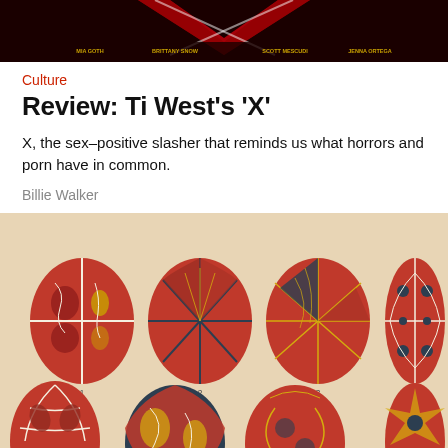[Figure (photo): Top portion of a movie poster for 'X' showing an X shape in dark red/black with actor name labels at the bottom]
Culture
Review: Ti West's 'X'
X, the sex–positive slasher that reminds us what horrors and porn have in common.
Billie Walker
[Figure (illustration): Decorative illustrated Easter eggs (pysanky) with intricate geometric and floral patterns in red, dark green/black, gold, and white. Four eggs numbered 1-4 in the top row and four more eggs partially visible in a second row.]